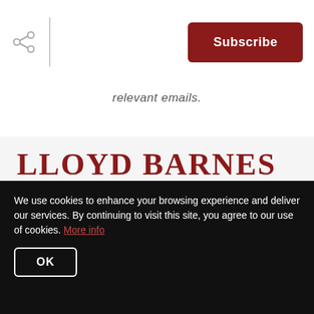[Figure (logo): Share icon (three connected circles) with a vertical divider line]
[Figure (logo): Red Subscribe button in top right corner]
relevant emails.
[Figure (logo): Lloyd Barnes Real Estate Team logo with text and house icon outline in gray]
We use cookies to enhance your browsing experience and deliver our services. By continuing to visit this site, you agree to our use of cookies. More info
OK